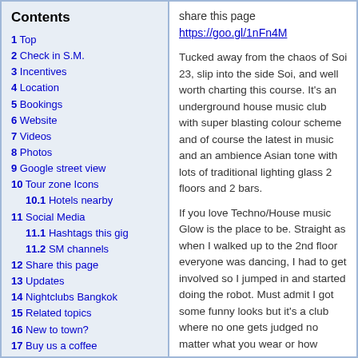Contents
1 Top
2 Check in S.M.
3 Incentives
4 Location
5 Bookings
6 Website
7 Videos
8 Photos
9 Google street view
10 Tour zone Icons
10.1 Hotels nearby
11 Social Media
11.1 Hashtags this gig
11.2 SM channels
12 Share this page
13 Updates
14 Nightclubs Bangkok
15 Related topics
16 New to town?
17 Buy us a coffee
18 Join our Community
19 Tourism Bangkok
20 Other stuff
share this page https://goo.gl/1nFn4M
Tucked away from the chaos of Soi 23, slip into the side Soi, and well worth charting this course. It's an underground house music club with super blasting colour scheme and of course the latest in music and an ambience Asian tone with lots of traditional lighting glass 2 floors and 2 bars.
If you love Techno/House music Glow is the place to be. Straight as when I walked up to the 2nd floor everyone was dancing, I had to get involved so I jumped in and started doing the robot. Must admit I got some funny looks but it's a club where no one gets judged no matter what you wear or how stupid you dance. I even witnessed this elderly man popping down low with his Thai girlfriend. There weren't many Thai people in the club it was hard to spot them with the mass of white people, then yet again Thai girls love to be white which is totally opposite to anywhere else in the